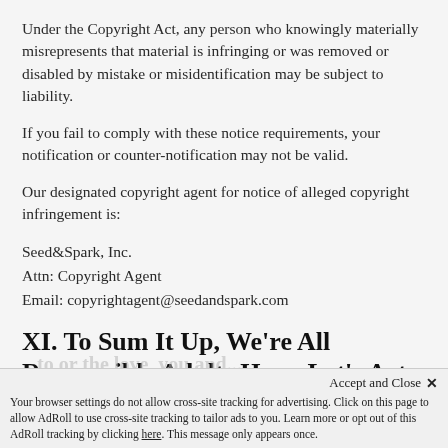Under the Copyright Act, any person who knowingly materially misrepresents that material is infringing or was removed or disabled by mistake or misidentification may be subject to liability.
If you fail to comply with these notice requirements, your notification or counter-notification may not be valid.
Our designated copyright agent for notice of alleged copyright infringement is:
Seed&Spark, Inc.
Attn: Copyright Agent
Email: copyrightagent@seedandspark.com
XI. To Sum It Up, We're All Responsible Adults Here. Let's Act Accordingly
Accept and Close ✕
Your browser settings do not allow cross-site tracking for advertising. Click on this page to allow AdRoll to use cross-site tracking to tailor ads to you. Learn more or opt out of this AdRoll tracking by clicking here. This message only appears once.